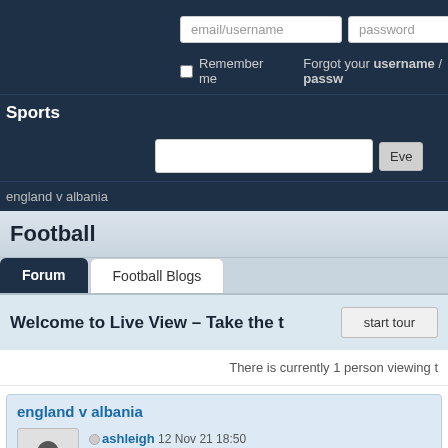email/username | password | Log In | Remember me | Forgot your username / password
Sports
england v albania
Football
Forum | Football Blogs
Welcome to Live View – Take the t…
start tour
There is currently 1 person viewing t…
england v albania
ashleigh 12 Nov 21 18:50 | Joined: 23 Aug 02 | Topic/replies: 18,768 | Blogger: ashleigh's blog